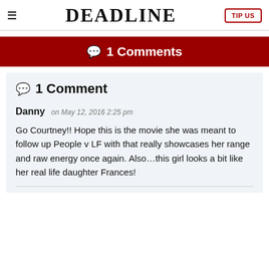DEADLINE
1 Comments
1 Comment
Danny on May 12, 2016 2:25 pm
Go Courtney!! Hope this is the movie she was meant to follow up People v LF with that really showcases her range and raw energy once again. Also…this girl looks a bit like her real life daughter Frances!